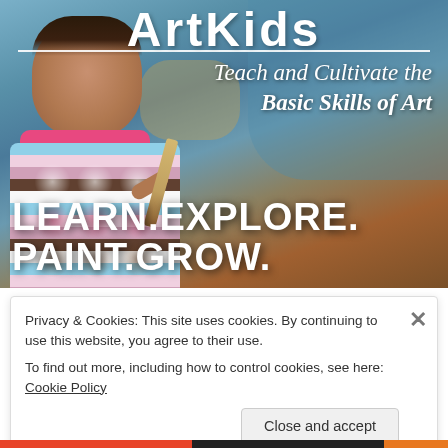[Figure (photo): Young smiling African-American girl wearing a colorful patterned apron, holding a paint brush, standing in front of an abstract painted canvas background. Overlay text includes 'Teach and Cultivate the Basic Skills of Art' and 'LEARN.EXPLORE. PAINT.GROW.']
Teach and Cultivate the Basic Skills of Art
LEARN.EXPLORE. PAINT.GROW.
Privacy & Cookies: This site uses cookies. By continuing to use this website, you agree to their use. To find out more, including how to control cookies, see here: Cookie Policy